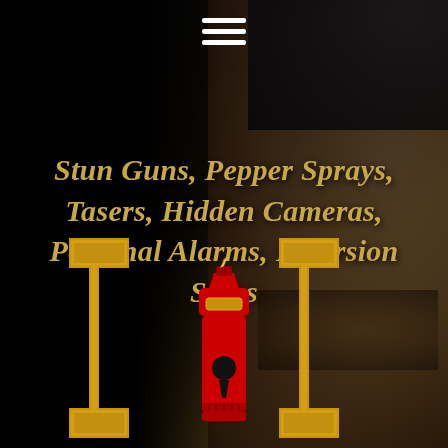[Figure (illustration): Website screenshot/banner with dark background showing partial face of a person on the right side, a gold bracket/shield logo graphic with a red pepper spray canister with keyhole in the center, hamburger menu icon at top center, and bold italic gold text listing security product categories]
≡ (hamburger menu icon)
Stun Guns, Pepper Sprays, Tasers, Hidden Cameras, Personal Alarms, Diversion Safes